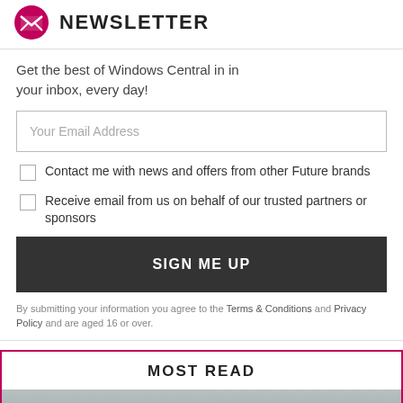NEWSLETTER
Get the best of Windows Central in in your inbox, every day!
Your Email Address
Contact me with news and offers from other Future brands
Receive email from us on behalf of our trusted partners or sponsors
SIGN ME UP
By submitting your information you agree to the Terms & Conditions and Privacy Policy and are aged 16 or over.
MOST READ